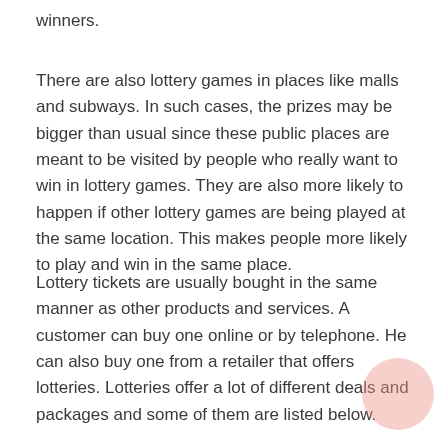winners.
There are also lottery games in places like malls and subways. In such cases, the prizes may be bigger than usual since these public places are meant to be visited by people who really want to win in lottery games. They are also more likely to happen if other lottery games are being played at the same location. This makes people more likely to play and win in the same place.
Lottery tickets are usually bought in the same manner as other products and services. A customer can buy one online or by telephone. He can also buy one from a retailer that offers lotteries. Lotteries offer a lot of different deals and packages and some of them are listed below.